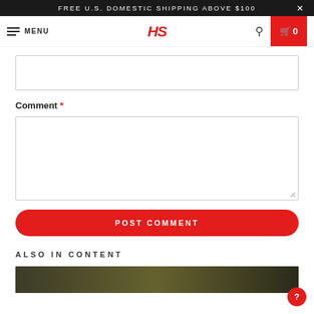FREE U.S. DOMESTIC SHIPPING ABOVE $100
HS MENU
Comment *
POST COMMENT
ALSO IN CONTENT